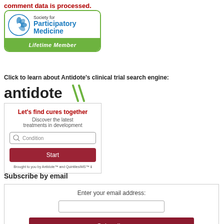comment data is processed.
[Figure (logo): Society for Participatory Medicine - Lifetime Member badge with blue text and green border]
Click to learn about Antidote's clinical trial search engine:
[Figure (logo): Antidote logo with stylized slashes]
[Figure (screenshot): Antidote widget: Let's find cures together. Discover the latest treatments in development. Condition input field. Start button. Brought to you by Antidote and QuintilesIMS.]
Subscribe by email
[Figure (screenshot): Email subscription box: Enter your email address input field and Subscribe button]